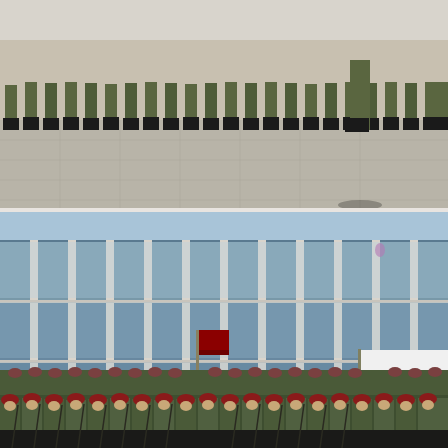[Figure (photo): Two-panel military photograph. Top panel: Close-up of soldiers' legs and boots in formation on a large paved plaza, with one soldier walking in the foreground casting a shadow. Bottom panel: A large military parade in front of a modern glass-facade building. Soldiers in olive/camouflage uniforms and red berets march in formation, one unit carrying a Polish flag (white and red) and a military standard on a pole.]